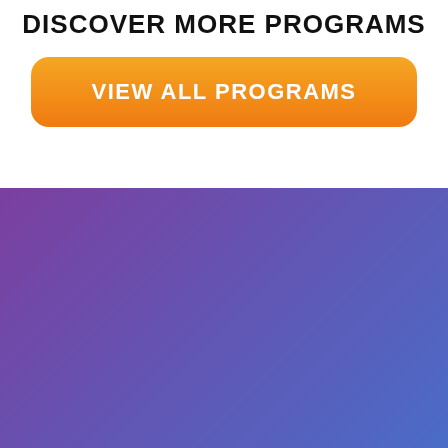DISCOVER MORE PROGRAMS
[Figure (other): Orange rounded rectangle button with white bold text reading VIEW ALL PROGRAMS]
[Figure (other): Large gradient background block transitioning from purple on the left to blue on the right]